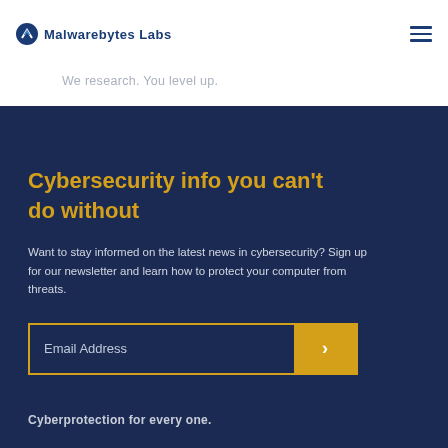Malwarebytes Labs
We research. You level up.
Cybersecurity info you can't do without
Want to stay informed on the latest news in cybersecurity? Sign up for our newsletter and learn how to protect your computer from threats.
Email Address
Cyberprotection for every one.